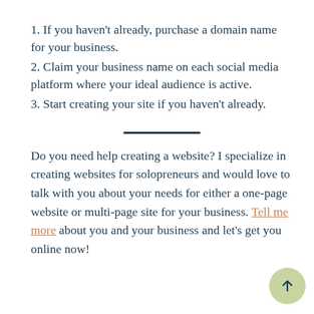1. If you haven't already, purchase a domain name for your business.
2. Claim your business name on each social media platform where your ideal audience is active.
3. Start creating your site if you haven't already.
Do you need help creating a website? I specialize in creating websites for solopreneurs and would love to talk with you about your needs for either a one-page website or multi-page site for your business. Tell me more about you and your business and let's get you online now!